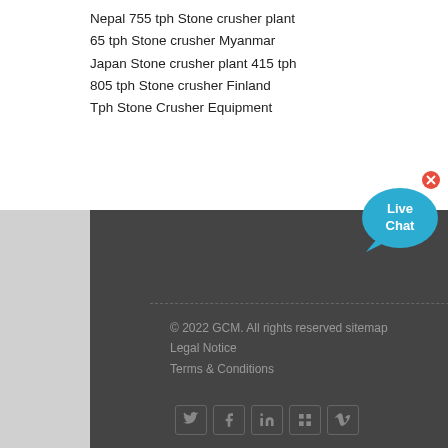Nepal 755 tph Stone crusher plant
65 tph Stone crusher Myanmar
Japan Stone crusher plant 415 tph
805 tph Stone crusher Finland
Tph Stone Crusher Equipment
[Figure (other): Live Chat speech bubble icon in blue/teal color with an X close button]
© 2022 GCM. All rights reserved sitemap
Legal Notice
Terms & Conditions